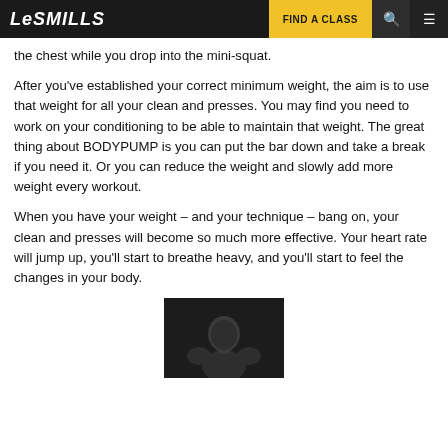LES MILLS | FIND A CLASS
the chest while you drop into the mini-squat.
After you've established your correct minimum weight, the aim is to use that weight for all your clean and presses. You may find you need to work on your conditioning to be able to maintain that weight. The great thing about BODYPUMP is you can put the bar down and take a break if you need it. Or you can reduce the weight and slowly add more weight every workout.
When you have your weight – and your technique – bang on, your clean and presses will become so much more effective. Your heart rate will jump up, you'll start to breathe heavy, and you'll start to feel the changes in your body.
[Figure (photo): Black and white portrait photo of a muscular shirtless man, cropped at top of frame, partially visible at bottom of page.]